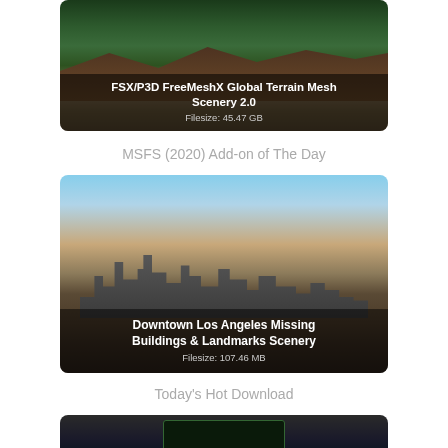[Figure (photo): Aerial photo of mountain terrain with forested slopes and a valley, with overlay text showing FSX/P3D FreeMeshX Global Terrain Mesh Scenery 2.0 title and filesize]
MSFS (2020) Add-on of The Day
[Figure (photo): Aerial flight simulator screenshot of Downtown Los Angeles skyline with skyscrapers, with overlay text showing Downtown Los Angeles Missing Buildings & Landmarks Scenery title and filesize]
Today's Hot Download
[Figure (photo): Partial view of a flight simulator cockpit instrument panel, shown cropped at bottom of page]